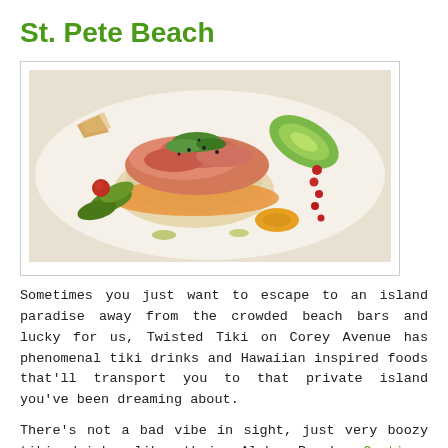St. Pete Beach
[Figure (photo): Close-up photo of a Hawaiian-inspired poke bowl dish on a white plate, featuring rice, salmon, tuna, jalapeños, cherry tomatoes, cucumbers, peppers, and sauces.]
Sometimes you just want to escape to an island paradise away from the crowded beach bars and lucky for us, Twisted Tiki on Corey Avenue has phenomenal tiki drinks and Hawaiian inspired foods that'll transport you to that private island you've been dreaming about.
There's not a bad vibe in sight, just very boozy tiki drinks like their Aloha Punch … Continue Reading